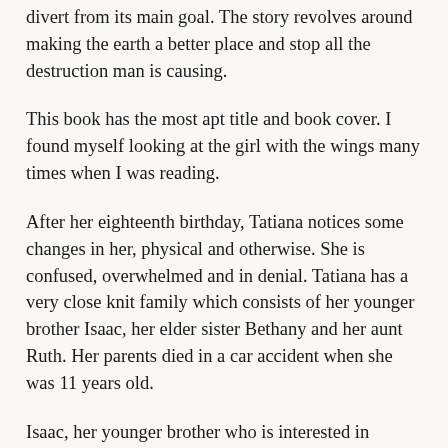divert from its main goal. The story revolves around making the earth a better place and stop all the destruction man is causing.
This book has the most apt title and book cover. I found myself looking at the girl with the wings many times when I was reading.
After her eighteenth birthday, Tatiana notices some changes in her, physical and otherwise. She is confused, overwhelmed and in denial. Tatiana has a very close knit family which consists of her younger brother Isaac, her elder sister Bethany and her aunt Ruth. Her parents died in a car accident when she was 11 years old.
Isaac, her younger brother who is interested in Mythology and is also very active on mythology forums, knows that there is something different about her. He helps Tatiana understand and accept her powers and changes. I really don't think I should tell you more otherwise it would spoil the book for you.
Behind Every Illusion is not a very plot driven book. In fact, considering its fantasy, it hardly has any action in it. It focuses